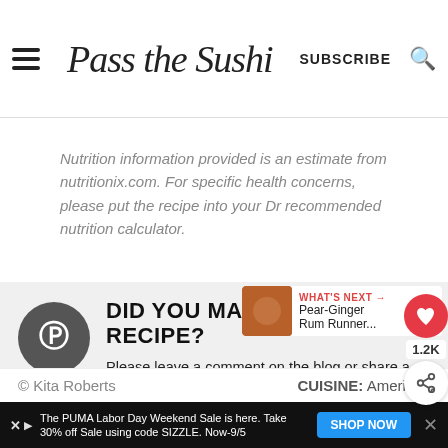Pass the Sushi — SUBSCRIBE
Nutrition information provided is an estimate from nutritionix.com. For specific health concerns, please put the recipe into your Dr recommended nutrition calculator.
DID YOU MAKE THIS RECIPE? Please leave a comment on the blog or share a photo on Pinterest!
[Figure (logo): Pinterest circle icon (gray background, white P logo)]
WHAT'S NEXT → Pear-Ginger Rum Runner...
© Kita Roberts
CUISINE: American
The PUMA Labor Day Weekend Sale is here. Take 30% off Sale using code SIZZLE. Now-9/5 SHOP NOW